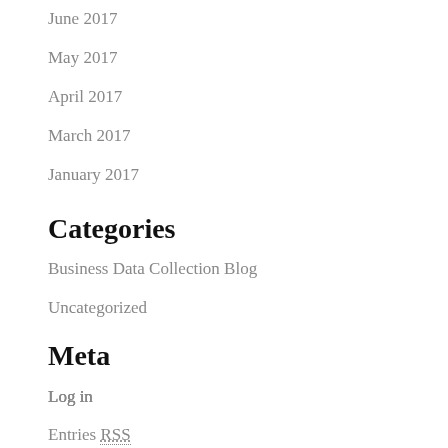June 2017
May 2017
April 2017
March 2017
January 2017
Categories
Business Data Collection Blog
Uncategorized
Meta
Log in
Entries RSS
Comments RSS
WordPress.org